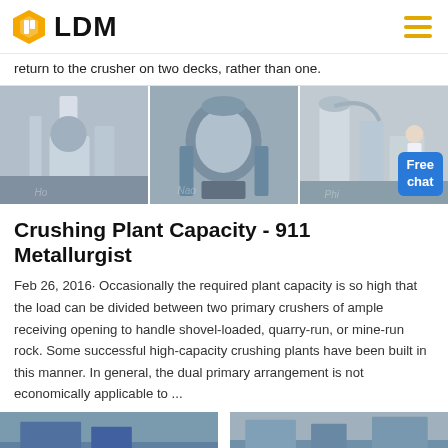LDM
return to the crusher on two decks, rather than one.
[Figure (photo): Three side-by-side photos of industrial crushing and milling equipment in factory settings.]
Crushing Plant Capacity - 911 Metallurgist
Feb 26, 2016· Occasionally the required plant capacity is so high that the load can be divided between two primary crushers of ample receiving opening to handle shovel-loaded, quarry-run, or mine-run rock. Some successful high-capacity crushing plants have been built in this manner. In general, the dual primary arrangement is not economically applicable to ...
[Figure (photo): Two side-by-side photos of industrial crushing plant facilities, partially visible at the bottom of the page.]